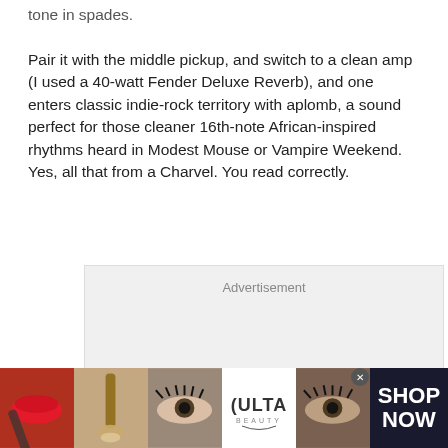tone in spades.

Pair it with the middle pickup, and switch to a clean amp (I used a 40-watt Fender Deluxe Reverb), and one enters classic indie-rock territory with aplomb, a sound perfect for those cleaner 16th-note African-inspired rhythms heard in Modest Mouse or Vampire Weekend. Yes, all that from a Charvel. You read correctly.
[Figure (other): Advertisement placeholder box with label 'Advertisement' and grey background]
[Figure (infographic): ULTA Beauty advertisement banner showing cosmetic photos (lips, makeup brush, eye, ULTA logo, eye close-up) with 'SHOP NOW' text on dark background]